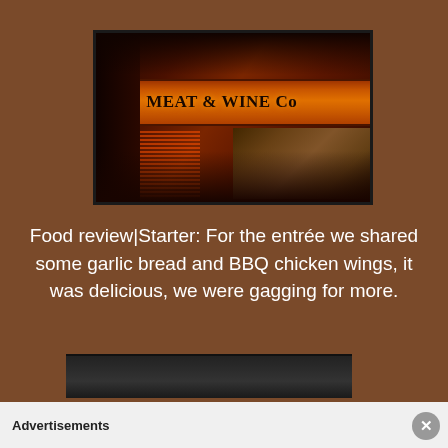[Figure (photo): Exterior photo of a restaurant called 'The Meat & Wine Co' with illuminated orange/red signage at night]
Food review|Starter: For the entrée we shared some garlic bread and BBQ chicken wings, it was delicious, we were gagging for more.
[Figure (photo): Partially visible bottom photo, cropped]
Advertisements